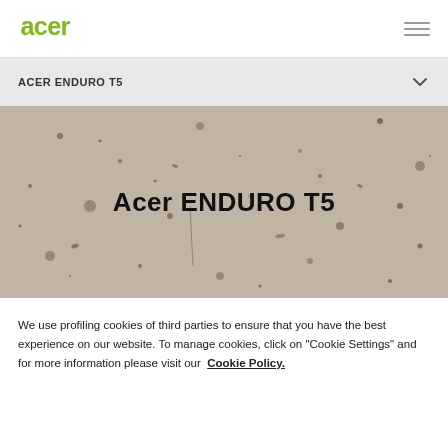[Figure (logo): Acer logo in green]
ACER ENDURO T5
[Figure (photo): Textured concrete/dirt surface background image with 'Acer ENDURO T5' title overlaid in the upper portion]
Acer ENDURO T5
We use profiling cookies of third parties to ensure that you have the best experience on our website. To manage cookies, click on "Cookie Settings" and for more information please visit our  Cookie Policy.